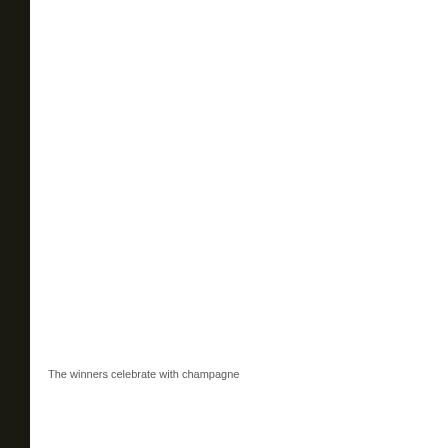The winners celebrate with champagne